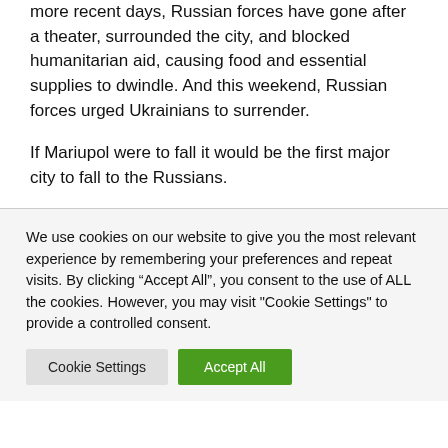more recent days, Russian forces have gone after a theater, surrounded the city, and blocked humanitarian aid, causing food and essential supplies to dwindle. And this weekend, Russian forces urged Ukrainians to surrender.
If Mariupol were to fall it would be the first major city to fall to the Russians.
We use cookies on our website to give you the most relevant experience by remembering your preferences and repeat visits. By clicking “Accept All”, you consent to the use of ALL the cookies. However, you may visit "Cookie Settings" to provide a controlled consent.
Cookie Settings
Accept All